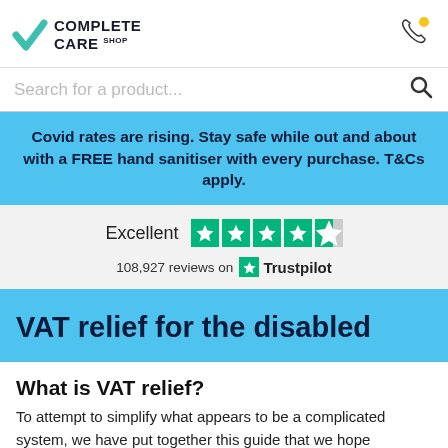[Figure (logo): Complete Care Shop logo with teal checkmark and bold text]
[Figure (illustration): Phone/call icon with yellow dot]
Search for a product...
Covid rates are rising. Stay safe while out and about with a FREE hand sanitiser with every purchase. T&Cs apply.
[Figure (other): Trustpilot rating: Excellent, 4.5 stars, 108,927 reviews on Trustpilot]
VAT relief for the disabled
What is VAT relief?
To attempt to simplify what appears to be a complicated system, we have put together this guide that we hope